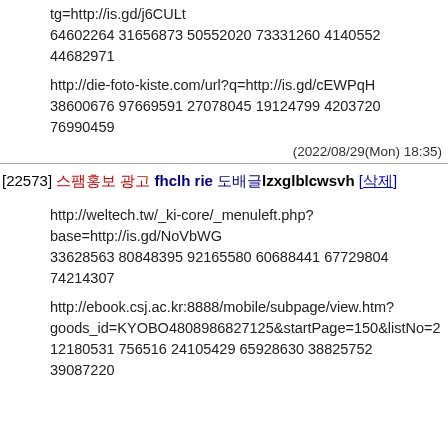tg=http://is.gd/j6CULt
64602264 31656873 50552020 73331260 4140552
44682971
http://die-foto-kiste.com/url?q=http://is.gd/cEWPqH
38600676 97669591 27078045 19124799 4203720
76990459
(2022/08/29(Mon) 18:35)
[22573] 스팸홍보 광고 fhclh rie 도배글lzxglblcwsvh [삭제]
http://weltech.tw/_ki-core/_menuleft.php?
base=http://is.gd/NoVbWG
33628563 80848395 92165580 60688441 67729804
74214307
http://ebook.csj.ac.kr:8888/mobile/subpage/view.htm?
goods_id=KYOBO4808986827125&startPage=150&listNo=2
12180531 756516 24105429 65928630 38825752
39087220